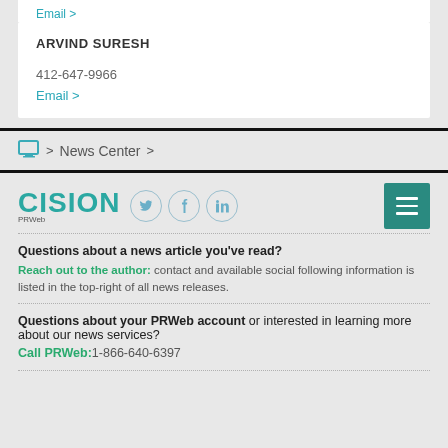Email >
ARVIND SURESH
412-647-9966
Email >
> News Center >
[Figure (logo): Cision PRWeb logo with social media icons (Twitter, Facebook, LinkedIn) and hamburger menu button]
Questions about a news article you've read?
Reach out to the author: contact and available social following information is listed in the top-right of all news releases.
Questions about your PRWeb account or interested in learning more about our news services?
Call PRWeb:1-866-640-6397